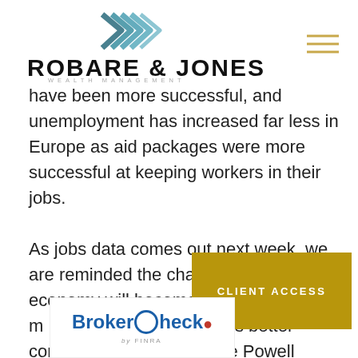[Figure (logo): Robare & Jones Wealth Management logo with geometric chevron mark in teal/navy and menu hamburger icon]
have been more successful, and unemployment has increased far less in Europe as aid packages were more successful at keeping workers in their jobs.
As jobs data comes out next week, we are reminded the challenges to the economy will become easier to [manage once the] virus is better controlled. Jerome Powell noted in his press [conference]... [we] think we feel that it might be [premature to say]...